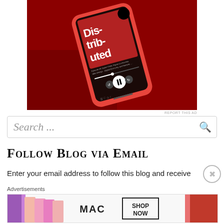[Figure (photo): Smartphone displaying the 'Distributed' podcast app on a red background, with playback controls visible. Phone has a red case.]
REPORT THIS AD
Search ...
Follow Blog via Email
Enter your email address to follow this blog and receive
Advertisements
[Figure (photo): MAC Cosmetics advertisement showing colorful lipsticks on left and right, MAC logo in center, with 'SHOP NOW' button.]